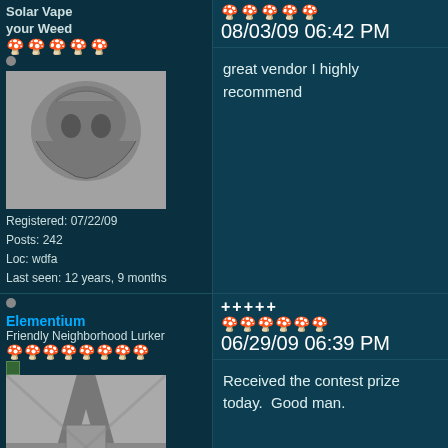Solar Vape your Weed
08/03/09 06:42 PM
[Figure (photo): User avatar sketch of a creature/animal]
great vendor I highly recommend
Registered: 07/22/09
Posts: 242
Loc: wdfa
Last seen: 12 years, 9 months
Elementium
Friendly Neighborhood Lurker
+++++
06/29/09 06:39 PM
[Figure (photo): User avatar photo of crossed structures/bridge aerial view]
Received the contest prize today.  Good man.
Registered: 12/06/06
Posts: 658
u are the wind beneath my wings